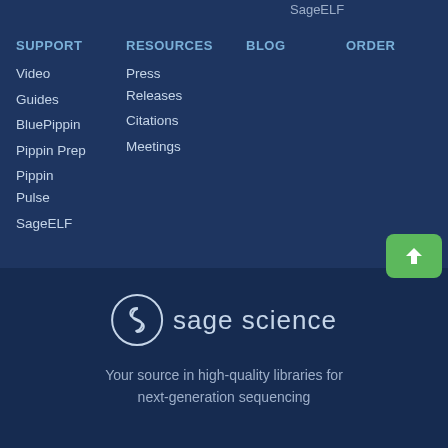SageELF
SUPPORT
RESOURCES
BLOG
ORDER
Video
Guides
BluePippin
Pippin Prep
Pippin Pulse
SageELF
Press
Releases
Citations
Meetings
[Figure (logo): Sage Science logo: a circle with an S-shaped snake/leaf symbol, followed by text 'sage science' in light color]
Your source in high-quality libraries for next-generation sequencing